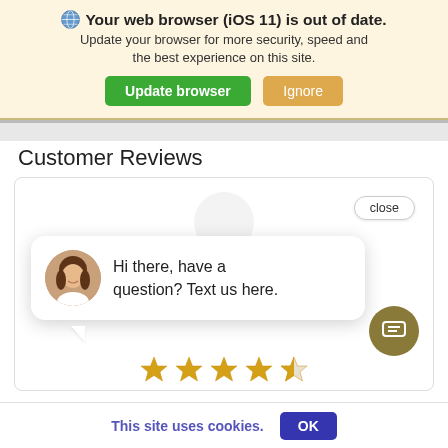🌐 Your web browser (iOS 11) is out of date. Update your browser for more security, speed and the best experience on this site.
Update browser | Ignore
Customer Reviews
[Figure (screenshot): Chat popup widget showing a female avatar and text 'Hi there, have a question? Text us here.' with a close button, a gold chat FAB button, and star ratings at the bottom.]
This site uses cookies.
OK